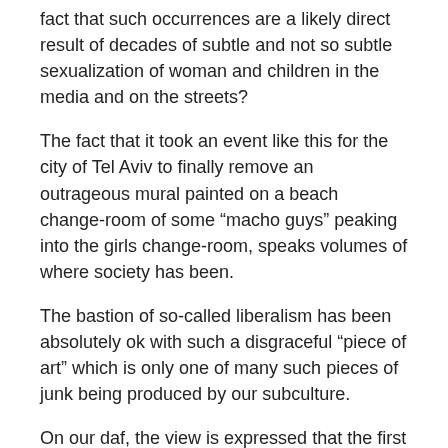fact that such occurrences are a likely direct result of decades of subtle and not so subtle sexualization of woman and children in the media and on the streets?
The fact that it took an event like this for the city of Tel Aviv to finally remove an outrageous mural painted on a beach change-room of some “macho guys” peaking into the girls change-room, speaks volumes of where society has been.
The bastion of so-called liberalism has been absolutely ok with such a disgraceful “piece of art” which is only one of many such pieces of junk being produced by our subculture.
On our daf, the view is expressed that the first man and woman were created as one entity, with a male face on one side, and a female face on the other.
The Gemara asks which side was on front, and answers that the male side was probably in front.
This is because we have learnt in a Beraisa that a man should never walk behind a woman, even his own wife, and if he meets a